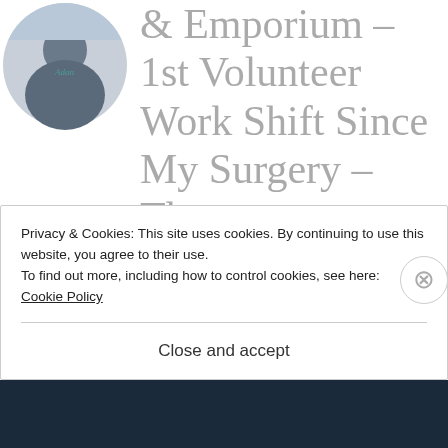[Figure (photo): Circular profile photo of a person wearing a dark shirt, cropped at the top of the page]
& Emporium – 1st Volunteer Work Shift Since My Surgery – The Preponderance of Wonderful Paintings & Photos Has Me
Privacy & Cookies: This site uses cookies. By continuing to use this website, you agree to their use.
To find out more, including how to control cookies, see here:
Cookie Policy
Close and accept